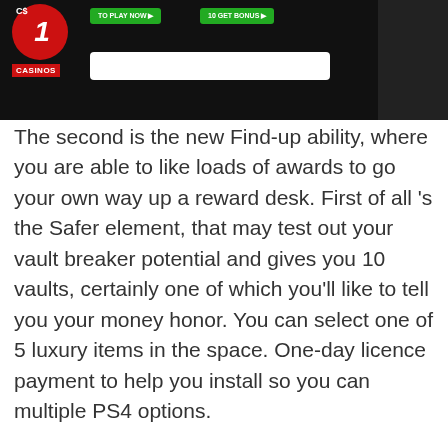[Figure (screenshot): Screenshot of a casino website (CS Casinos) showing a red circular logo with '1' and green navigation buttons on a dark background with a white search/address bar.]
The second is the new Find-up ability, where you are able to like loads of awards to go your own way up a reward desk. First of all 's the Safer element, that may test out your vault breaker potential and gives you 10 vaults, certainly one of which you'll like to tell you your money honor. You can select one of 5 luxury items in the space. One-day licence payment to help you install so you can multiple PS4 options.